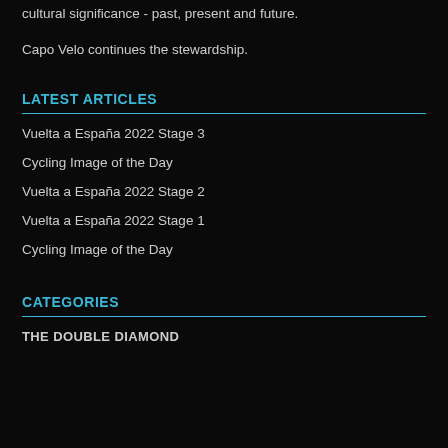As a cycling collective, we're passionate about its historical and cultural significance - past, present and future.
Capo Velo continues the stewardship.
LATEST ARTICLES
Vuelta a España 2022 Stage 3
Cycling Image of the Day
Vuelta a España 2022 Stage 2
Vuelta a España 2022 Stage 1
Cycling Image of the Day
CATEGORIES
THE DOUBLE DIAMOND